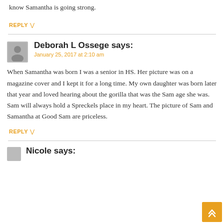know Samantha is going strong.
REPLY
Deborah L Ossege says:
January 25, 2017 at 2:10 am
When Samantha was born I was a senior in HS. Her picture was on a magazine cover and I kept it for a long time. My own daughter was born later that year and loved hearing about the gorilla that was the Sam age she was. Sam will always hold a Spreckels place in my heart. The picture of Sam and Samantha at Good Sam are priceless.
REPLY
Nicole says: